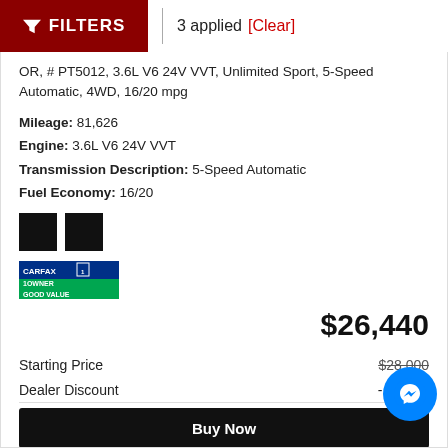FILTERS | 3 applied [Clear]
OR, # PT5012, 3.6L V6 24V VVT, Unlimited Sport, 5-Speed Automatic, 4WD, 16/20 mpg
Mileage: 81,626
Engine: 3.6L V6 24V VVT
Transmission Description: 5-Speed Automatic
Fuel Economy: 16/20
[Figure (logo): Two black squares and CARFAX 1 Owner Good Value badge]
$26,440
Starting Price $28,000
Dealer Discount - $1,560
Buy Now
Instant Trade Offer